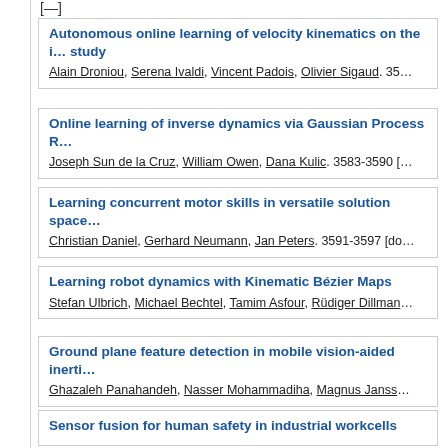[—]
Autonomous online learning of velocity kinematics on the i… study. Alain Droniou, Serena Ivaldi, Vincent Padois, Olivier Sigaud. 357…
Online learning of inverse dynamics via Gaussian Process R… Joseph Sun de la Cruz, William Owen, Dana Kulic. 3583-3590 […]
Learning concurrent motor skills in versatile solution space… Christian Daniel, Gerhard Neumann, Jan Peters. 3591-3597 [do…]
Learning robot dynamics with Kinematic Bézier Maps. Stefan Ulbrich, Michael Bechtel, Tamim Asfour, Rüdiger Dillman…
Ground plane feature detection in mobile vision-aided inerti… Ghazaleh Panahandeh, Nasser Mohammadiha, Magnus Janss…
Sensor fusion for human safety in industrial workcells